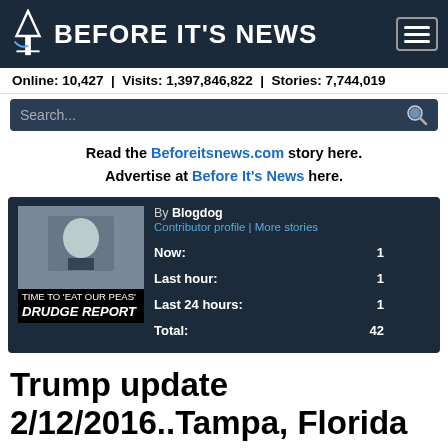BEFORE IT'S NEWS
Online: 10,427 | Visits: 1,397,846,822 | Stories: 7,744,019
Search...
Read the Beforeitsnews.com story here. Advertise at Before It's News here.
[Figure (screenshot): Article card with thumbnail image of Obama and Drudge Report label, contributor info by Blogdog, stats: Now 1, Last hour 1, Last 24 hours 1, Total 42]
Trump update 2/12/2016..Tampa, Florida
Friday, February 12, 2016 20:06